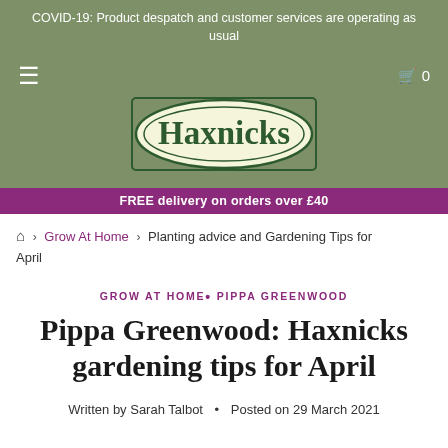COVID-19: Product despatch and customer services are operating as usual
[Figure (logo): Haxnicks brand logo — oval shape with cream background, dark green border, serif text 'Haxnicks']
FREE delivery on orders over £40
Home › Grow At Home › Planting advice and Gardening Tips for April
GROW AT HOME• PIPPA GREENWOOD
Pippa Greenwood: Haxnicks gardening tips for April
Written by Sarah Talbot • Posted on 29 March 2021